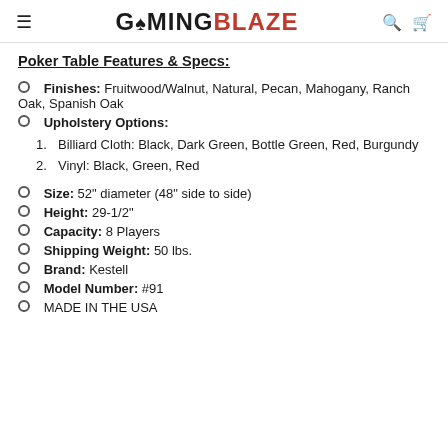GAMINGBLAZE
Poker Table Features & Specs:
Finishes: Fruitwood/Walnut, Natural, Pecan, Mahogany, Ranch Oak, Spanish Oak
Upholstery Options:
1. Billiard Cloth: Black, Dark Green, Bottle Green, Red, Burgundy
2. Vinyl: Black, Green, Red
Size: 52" diameter (48" side to side)
Height: 29-1/2"
Capacity: 8 Players
Shipping Weight: 50 lbs.
Brand: Kestell
Model Number: #91
MADE IN THE USA